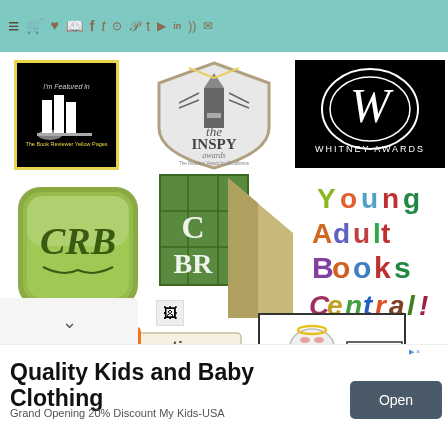Navigation bar with hamburger menu, cart, heart, book, Facebook, Twitter, Instagram, Pinterest, Tumblr, YouTube, LinkedIn, RSS, email icons
[Figure (logo): I'm Featured in - The Book Reviewer Yellow Pages logo (black background with yellow border, white bookshelf silhouette)]
[Figure (logo): The INSPY Awards - The Readers' Award for Excellence in Faith-Driven Literature (shield shape with lighthouse)]
[Figure (logo): Whitney Awards logo (black background with cursive W in oval)]
[Figure (logo): CRB logo (green rounded square button with CRB monogram)]
[Figure (logo): CBR logo (green and tan geometric book/pencil design)]
[Figure (logo): Young Adult Books Central colorful text logo]
[Figure (logo): Blog Nation - Share Your Passion logo]
[Figure (logo): I've been listed on the Book Blogger List badge with cartoon character]
Quality Kids and Baby Clothing
Grand Opening 20% Discount My Kids-USA
Open